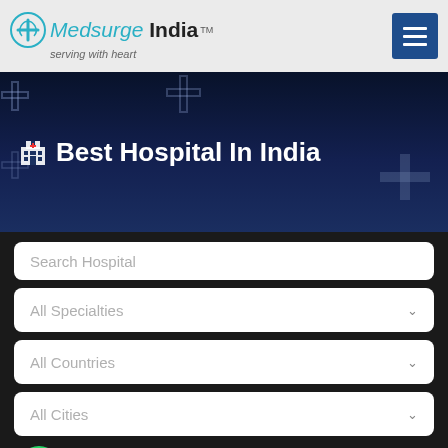[Figure (logo): Medsurge India logo with teal/cyan color and tagline 'serving with heart']
[Figure (screenshot): Dark blue hero banner with cross/plus icons and hospital building icon]
Best Hospital In India
Search Hospital
All Specialties
All Countries
All Cities
Book Appointment